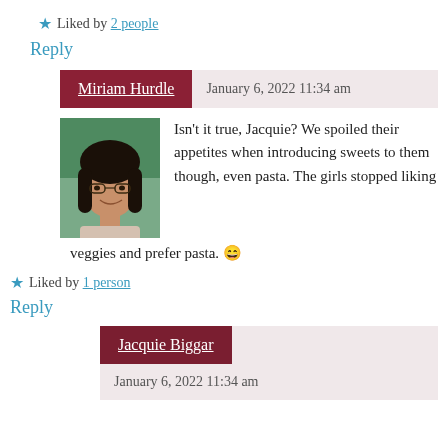★ Liked by 2 people
Reply
Miriam Hurdle — January 6, 2022 11:34 am
[Figure (photo): Avatar photo of Miriam Hurdle, a woman with dark hair]
Isn't it true, Jacquie? We spoiled their appetites when introducing sweets to them though, even pasta. The girls stopped liking veggies and prefer pasta. 😄
★ Liked by 1 person
Reply
Jacquie Biggar
January 6, 2022 11:34 am